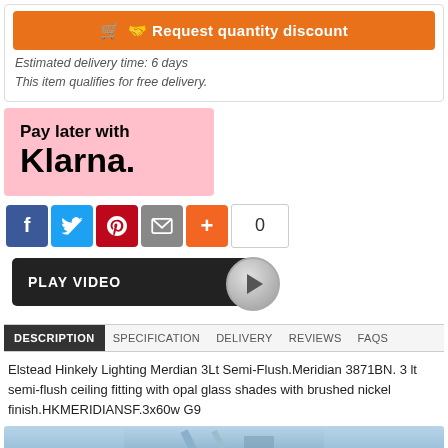[Figure (screenshot): Orange 'Request quantity discount' button with cart icon]
Estimated delivery time: 6 days
This item qualifies for free delivery.
[Figure (logo): Pay later with Klarna. logo on pink background]
[Figure (screenshot): Social sharing icons: Facebook, Twitter, Pinterest, Email, Plus, and count 0, plus Play Video button]
DESCRIPTION  SPECIFICATION  DELIVERY  REVIEWS  FAQS
Elstead Hinkely Lighting Merdian 3Lt Semi-Flush.Meridian 3871BN. 3 lt semi-flush ceiling fitting with opal glass shades with brushed nickel finish.HKMERIDIANSF.3x60w G9
[Figure (photo): Partial product image at bottom]